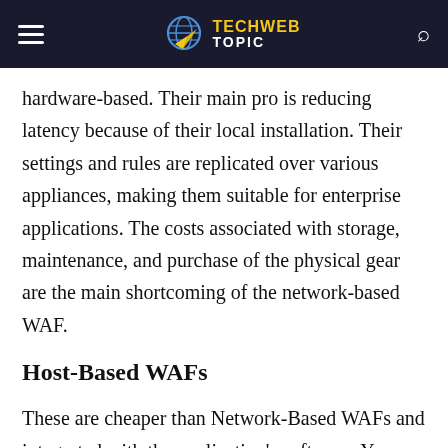TECH WEB TOPIC
hardware-based. Their main pro is reducing latency because of their local installation. Their settings and rules are replicated over various appliances, making them suitable for enterprise applications. The costs associated with storage, maintenance, and purchase of the physical gear are the main shortcoming of the network-based WAF.
Host-Based WAFs
These are cheaper than Network-Based WAFs and integrated with the application's software. You can